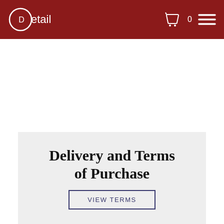Detail — cart 0 — menu
Delivery and Terms of Purchase
VIEW TERMS